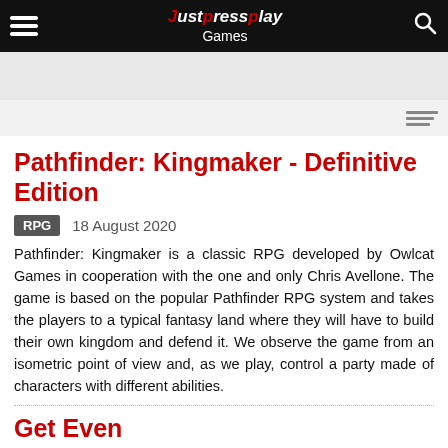Games
Pathfinder: Kingmaker - Definitive Edition
RPG  18 August 2020
Pathfinder: Kingmaker is a classic RPG developed by Owlcat Games in cooperation with the one and only Chris Avellone. The game is based on the popular Pathfinder RPG system and takes the players to a typical fantasy land where they will have to build their own kingdom and defend it. We observe the game from an isometric point of view and, as we play, control a party made of characters with different abilities.
Get Even
Action  23 June 2017
An FPS game...